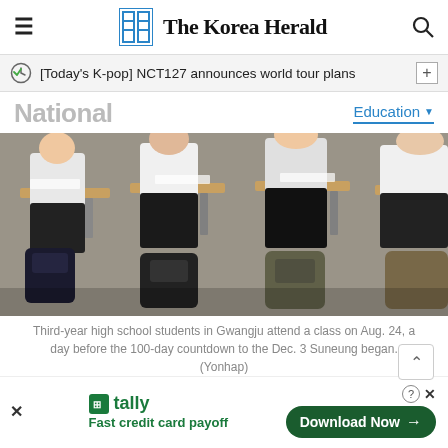The Korea Herald
[Today's K-pop] NCT127 announces world tour plans
National
Education
[Figure (photo): Third-year high school students sitting at desks in a classroom in Gwangju, viewed from behind, with backpacks on the floor]
Third-year high school students in Gwangju attend a class on Aug. 24, a day before the 100-day countdown to the Dec. 3 Suneung began. (Yonhap)
The final year in high school has always been tough for Korean students. But it is harde